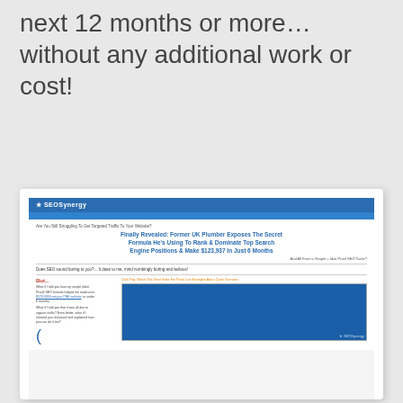next 12 months or more… without any additional work or cost!
[Figure (screenshot): Screenshot of SEOSynergy website showing headline 'Finally Revealed: Former UK Plumber Exposes The Secret Formula He's Using To Rank & Dominate Top Search Engine Positions & Make $123,937 In Just 6 Months', with a blue header, body text, and a video player on the right side.]